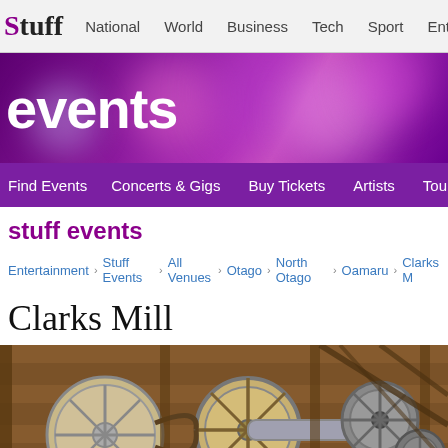Stuff | National | World | Business | Tech | Sport | Entertainment
events
Find Events | Concerts & Gigs | Buy Tickets | Artists | Tours | Venues
stuff events
Entertainment › Stuff Events › All Venues › Otago › North Otago › Oamaru › Clarks M...
Clarks Mill
[Figure (photo): Interior of Clarks Mill showing antique wooden and metal mill machinery with large wheels, pulleys, and belts]